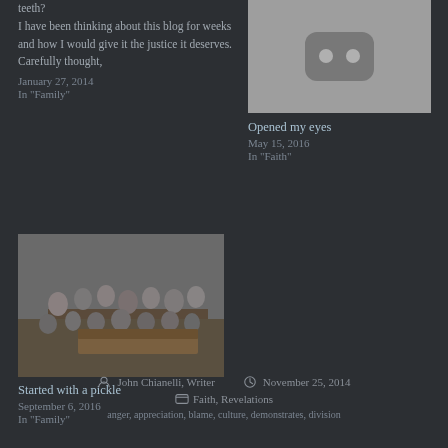teeth? I have been thinking about this blog for weeks and how I would give it the justice it deserves. Carefully thought,
January 27, 2014
In "Family"
[Figure (photo): Placeholder image with two dots icon on grey background]
Opened my eyes
May 15, 2016
In "Faith"
[Figure (photo): Black and white vintage classroom photo with students and teacher]
Started with a pickle
September 6, 2016
In "Family"
John Chianelli, Writer   November 25, 2014   Faith, Revelations   anger, appreciation, blame, culture, demonstrates, division